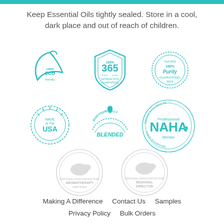Keep Essential Oils tightly sealed. Store in a cool, dark place and out of reach of children.
[Figure (logo): Six certification/badge logos in teal: 100% eco friendly leaf, 100% 365 satisfaction shield, 100% Purity Guaranteed seal, Made in the USA stamp, Biodynamically Blended stamp, NAHA Professional Member badge]
[Figure (logo): Two faded/greyed-out NAHA circular badges: National Association for Holistic Aromatherapy Certified Aromatherapist and Regional Director]
Making A Difference    Contact Us    Samples
Privacy Policy    Bulk Orders